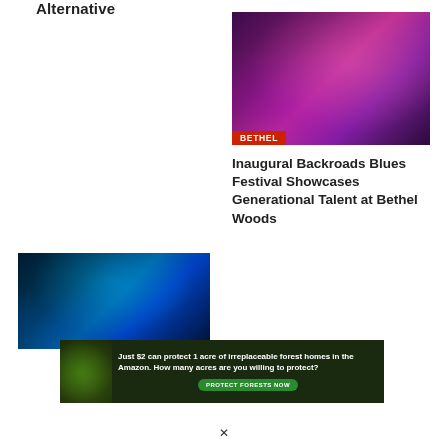Alternative
[Figure (photo): Concert stage photo with pink/purple lighting, musicians performing, text 'Backroads Blues' visible. BETHEL tag overlaid at bottom left.]
Inaugural Backroads Blues Festival Showcases Generational Talent at Bethel Woods
[Figure (photo): Blue-lit city building exterior at night, neon signage visible.]
[Figure (photo): Advertisement banner: Just $2 can protect 1 acre of irreplaceable forest homes in the Amazon. How many acres are you willing to protect? PROTECT FORESTS NOW]
✕